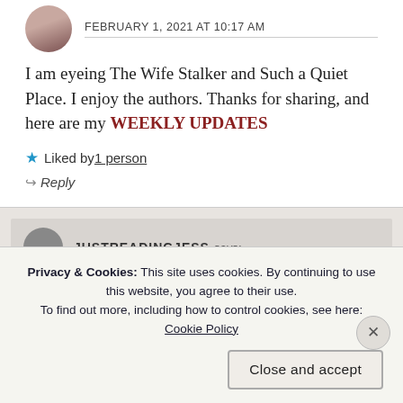[Figure (photo): Circular avatar photo of a person, partially cropped at top]
FEBRUARY 1, 2021 AT 10:17 AM
I am eyeing The Wife Stalker and Such a Quiet Place. I enjoy the authors. Thanks for sharing, and here are my WEEKLY UPDATES
★ Liked by 1 person
↩ Reply
[Figure (photo): Circular avatar for JUSTREADINGJESS]
JUSTREADINGJESS says:
Privacy & Cookies: This site uses cookies. By continuing to use this website, you agree to their use.
To find out more, including how to control cookies, see here: Cookie Policy
Close and accept